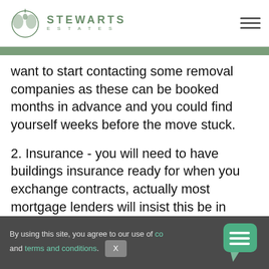STEWARTS ESTATES
want to start contacting some removal companies as these can be booked months in advance and you could find yourself weeks before the move stuck.
2. Insurance - you will need to have buildings insurance ready for when you exchange contracts, actually most mortgage lenders will insist this be in
By using this site, you agree to our use of co and terms and conditions. X